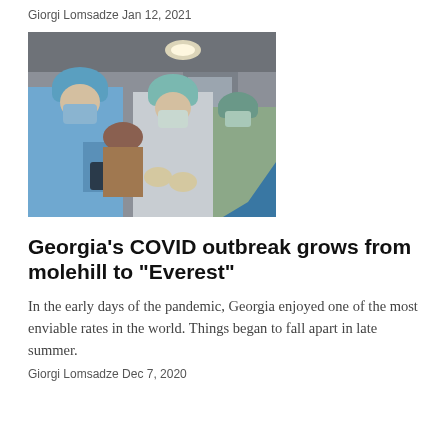Giorgi Lomsadze Jan 12, 2021
[Figure (photo): Healthcare workers in blue and grey PPE gowns, surgical masks, and hair caps standing in a hospital corridor]
Georgia’s COVID outbreak grows from molehill to “Everest”
In the early days of the pandemic, Georgia enjoyed one of the most enviable rates in the world. Things began to fall apart in late summer.
Giorgi Lomsadze Dec 7, 2020